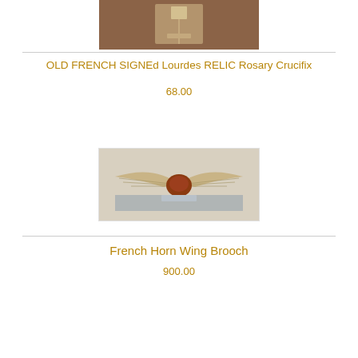[Figure (photo): A small item (appears to be a crucifix or relic) photographed against a brown background]
OLD FRENCH SIGNEd Lourdes RELIC Rosary Crucifix
68.00
[Figure (photo): A wing brooch or ornament with spread wings and a reddish-brown center body, photographed against a light background]
French Horn Wing Brooch
900.00